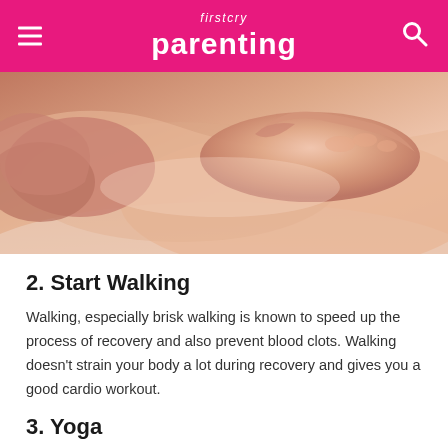firstcry parenting
[Figure (photo): Close-up photo of hands performing a massage on a person's back, skin tones of peach and pink, white cloth visible at bottom.]
2. Start Walking
Walking, especially brisk walking is known to speed up the process of recovery and also prevent blood clots. Walking doesn't strain your body a lot during recovery and gives you a good cardio workout.
3. Yoga